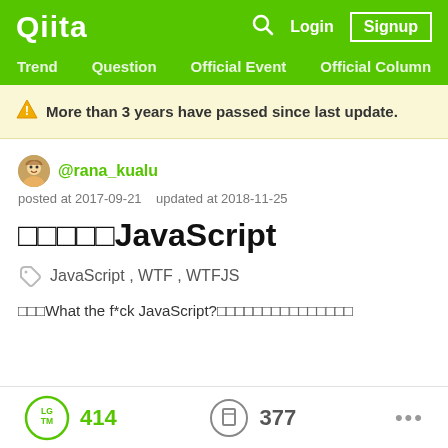Qiita  Login  Signup  Trend  Question  Official Event  Official Column
⚠ More than 3 years have passed since last update.
@rana_kualu
posted at 2017-09-21    updated at 2018-11-25
□□□□□JavaScript
🏷 JavaScript , WTF , WTFJS
□□□What the f*ck JavaScript?□□□□□□□□□□□□□□□
LGTM 414   377   ...